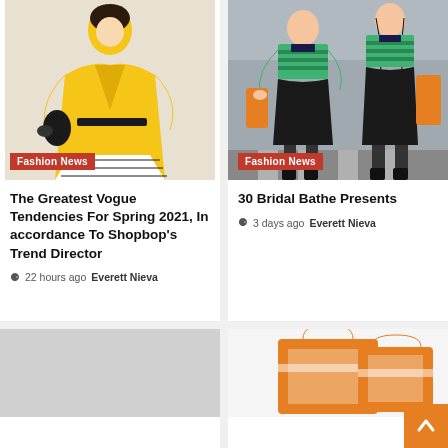[Figure (photo): Woman in a yellow flared coat with black accessories, illustration/fashion photo style]
Fashion News
The Greatest Vogue Tendencies For Spring 2021, In accordance To Shopbop's Trend Director
22 hours ago  Everett Nieva
[Figure (photo): Two women in green striped tops and black skirts walking through an airport]
Fashion News
30 Bridal Bathe Presents
3 days ago  Everett Nieva
[Figure (photo): Partial bottom-left card with gray placeholder image]
[Figure (photo): Partial bottom-right card with orange bag image and back-to-top button]